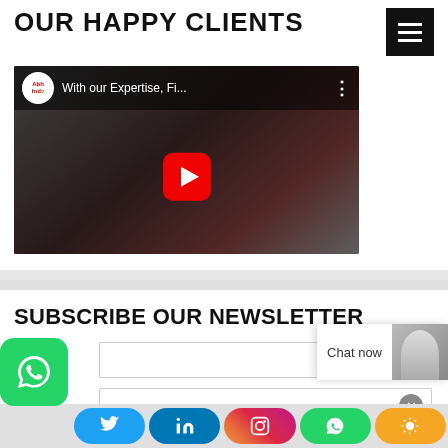OUR HAPPY CLIENTS
[Figure (screenshot): YouTube video thumbnail showing AbhIndv channel video titled 'With our Expertise, Fi...' with a play button overlay on a dark background image of a person doing yoga/exercise]
SUBSCRIBE OUR NEWSLETTER
Name *
Email *
[Figure (screenshot): Chat now widget with female avatar on the right side]
[Figure (infographic): Social media icon bar at bottom: WhatsApp (green), Twitter (blue), LinkedIn (blue), Instagram (gradient), WhatsApp, and an orange button]